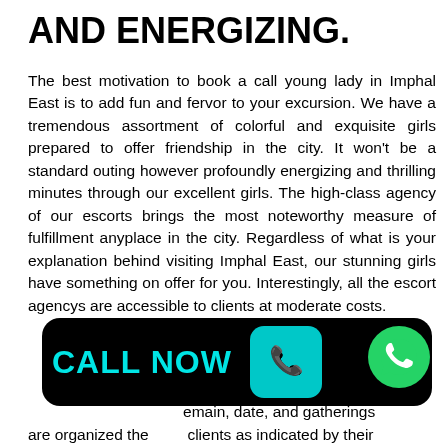AND ENERGIZING.
The best motivation to book a call young lady in Imphal East is to add fun and fervor to your excursion. We have a tremendous assortment of colorful and exquisite girls prepared to offer friendship in the city. It won't be a standard outing however profoundly energizing and thrilling minutes through our excellent girls. The high-class agency of our escorts brings the most noteworthy measure of fulfillment anyplace in the city. Regardless of what is your explanation behind visiting Imphal East, our stunning girls have something on offer for you. Interestingly, all the escort agencys are accessible to clients at moderate costs.
[Figure (other): Black button with cyan CALL NOW text and phone icon]
[Figure (other): Green WhatsApp circle icon]
...emain, date, and gatherings are organized the clients as indicated by their